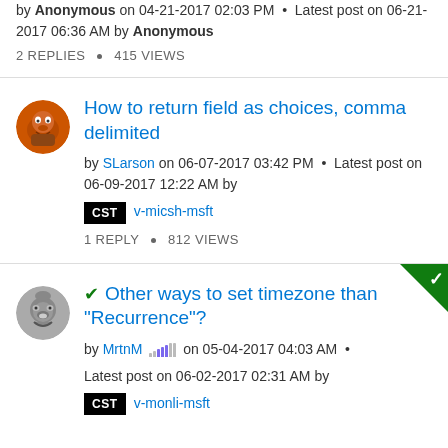by Anonymous on 04-21-2017 02:03 PM · Latest post on 06-21-2017 06:36 AM by Anonymous
2 REPLIES · 415 VIEWS
How to return field as choices, comma delimited
by SLarson on 06-07-2017 03:42 PM · Latest post on 06-09-2017 12:22 AM by CST v-micsh-msft
1 REPLY · 812 VIEWS
Other ways to set timezone than "Recurrence"?
by MrtnM on 05-04-2017 04:03 AM · Latest post on 06-02-2017 02:31 AM by CST v-monli-msft